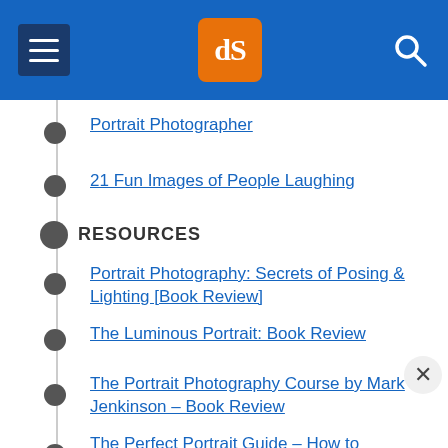dPS navigation menu
Portrait Photographer
21 Fun Images of People Laughing
RESOURCES
Portrait Photography: Secrets of Posing & Lighting [Book Review]
The Luminous Portrait: Book Review
The Portrait Photography Course by Mark Jenkinson – Book Review
The Perfect Portrait Guide – How to Photograph People – Book Review